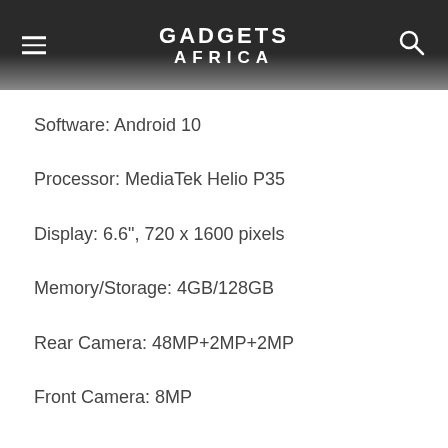GADGETS AFRICA
Software: Android 10
Processor: MediaTek Helio P35
Display: 6.6", 720 x 1600 pixels
Memory/Storage: 4GB/128GB
Rear Camera: 48MP+2MP+2MP
Front Camera: 8MP